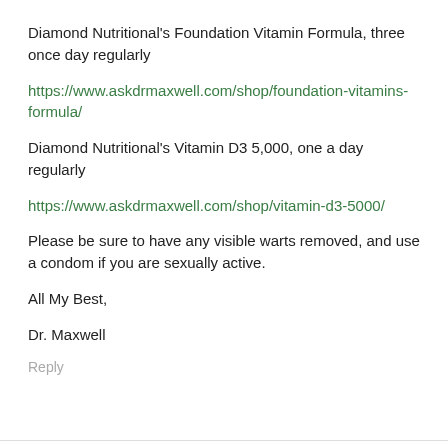Diamond Nutritional's Foundation Vitamin Formula, three once day regularly
https://www.askdrmaxwell.com/shop/foundation-vitamins-formula/
Diamond Nutritional's Vitamin D3 5,000, one a day regularly
https://www.askdrmaxwell.com/shop/vitamin-d3-5000/
Please be sure to have any visible warts removed, and use a condom if you are sexually active.
All My Best,
Dr. Maxwell
Reply